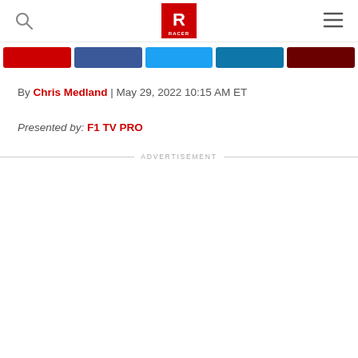RACER logo with search and hamburger menu
[Figure (logo): RACER magazine logo - red square with white R letter and RACER text below]
By Chris Medland | May 29, 2022 10:15 AM ET
Presented by: F1 TV PRO
ADVERTISEMENT